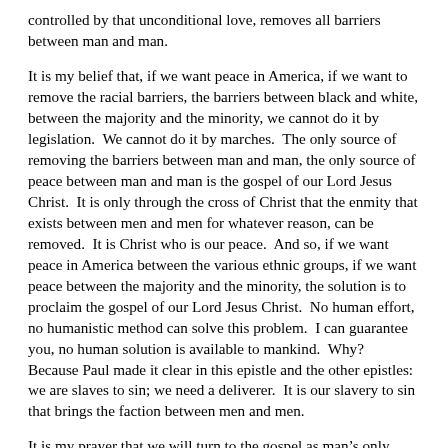controlled by that unconditional love, removes all barriers between man and man.
It is my belief that, if we want peace in America, if we want to remove the racial barriers, the barriers between black and white, between the majority and the minority, we cannot do it by legislation.  We cannot do it by marches.  The only source of removing the barriers between man and man, the only source of peace between man and man is the gospel of our Lord Jesus Christ.  It is only through the cross of Christ that the enmity that exists between men and men for whatever reason, can be removed.  It is Christ who is our peace.  And so, if we want peace in America between the various ethnic groups, if we want peace between the majority and the minority, the solution is to proclaim the gospel of our Lord Jesus Christ.  No human effort, no humanistic method can solve this problem.  I can guarantee you, no human solution is available to mankind.  Why?  Because Paul made it clear in this epistle and the other epistles:  we are slaves to sin; we need a deliverer.  It is our slavery to sin that brings the faction between men and men.
It is my prayer that we will turn to the gospel as man’s only solution of bringing peace in America and in the world.
But let’s go on.  In verse 19 of Ephesians 2, Paul goes on now by